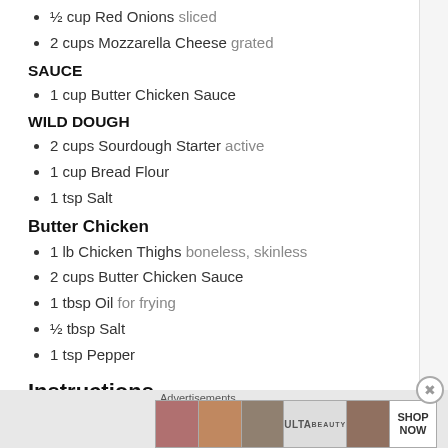½ cup Red Onions sliced
2 cups Mozzarella Cheese grated
SAUCE
1 cup Butter Chicken Sauce
WILD DOUGH
2 cups Sourdough Starter active
1 cup Bread Flour
1 tsp Salt
Butter Chicken
1 lb Chicken Thighs boneless, skinless
2 cups Butter Chicken Sauce
1 tbsp Oil for frying
½ tbsp Salt
1 tsp Pepper
Instructions
Advertisements